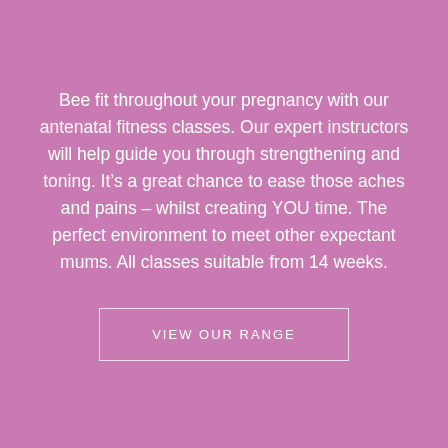Bee fit throughout your pregnancy with our antenatal fitness classes. Our expert instructors will help guide you through strengthening and toning. It’s a great chance to ease those aches and pains – whilst creating YOU time. The perfect environment to meet other expectant mums. All classes suitable from 14 weeks.
VIEW OUR RANGE